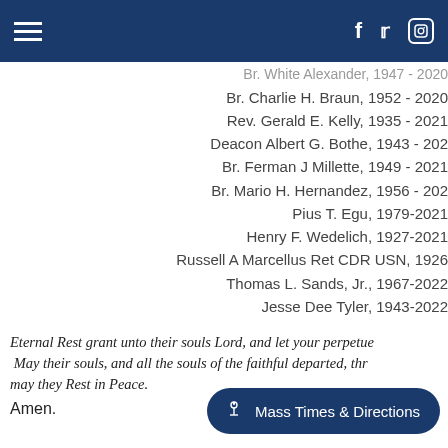Navigation header with hamburger menu and social icons (Facebook, Twitter, Instagram)
Br. White Alexander, 1947 - 2020 [partially visible]
Br. Charlie H. Braun, 1952 - 2020
Rev. Gerald E. Kelly, 1935 - 2021
Deacon Albert G. Bothe, 1943 - 202[partially cut]
Br. Ferman J Millette, 1949 - 2021
Br. Mario H. Hernandez, 1956 - 202[partially cut]
Pius T. Egu, 1979-2021
Henry F. Wedelich, 1927-2021
Russell A Marcellus Ret CDR USN, 1926[partially cut]
Thomas L. Sands, Jr., 1967-2022
Jesse Dee Tyler, 1943-2022
Eternal Rest grant unto their souls Lord, and let your perpetue... May their souls, and all the souls of the faithful departed, thr... may they Rest in Peace.
Amen.
Mass Times & Directions